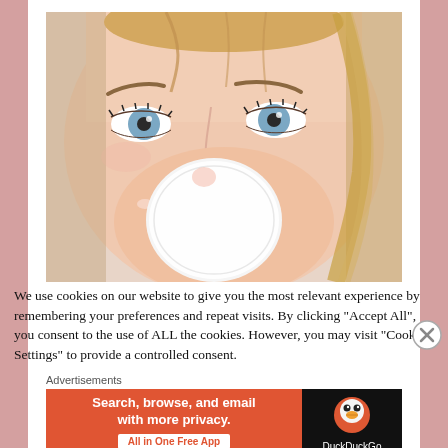[Figure (photo): Close-up photo of a young blonde woman with blue eyes holding a white cotton pad/makeup remover pad over the lower half of her face. The image is cropped at approximately mid-face. Background is white/light gray.]
We use cookies on our website to give you the most relevant experience by remembering your preferences and repeat visits. By clicking "Accept All", you consent to the use of ALL the cookies. However, you may visit "Cookie Settings" to provide a controlled consent.
Advertisements
[Figure (infographic): DuckDuckGo advertisement banner. Left side: orange/red background with white bold text 'Search, browse, and email with more privacy.' and a white button reading 'All in One Free App'. Right side: black background with DuckDuckGo duck logo and text 'DuckDuckGo'.]